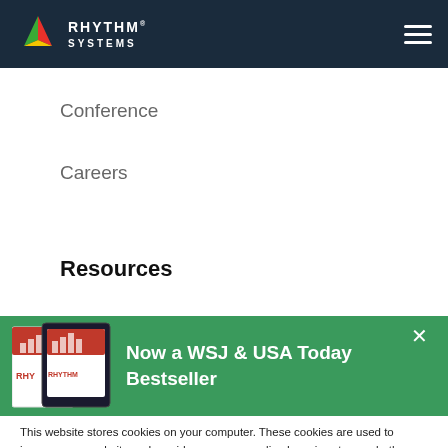[Figure (logo): Rhythm Systems logo with triangle icon and company name on dark navy header bar]
Conference
Careers
Resources
[Figure (infographic): Green promotional banner showing book covers for Rhythm with text 'Now a WSJ & USA Today Bestseller' and a close X button]
This website stores cookies on your computer. These cookies are used to improve your website and provide more personalized services to you, both on this website and through other media. To find out more about the cookies we use, see our Privacy Policy.
Accept